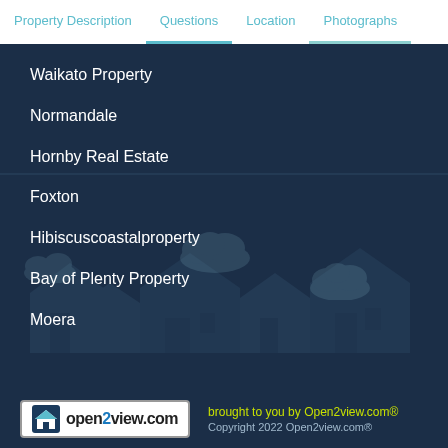Property Description | Questions | Location | Photographs
Waikato Property
Normandale
Hornby Real Estate
Foxton
Hibiscuscoastalproperty
Bay of Plenty Property
Moera
[Figure (logo): open2view.com logo with house icon]
brought to you by Open2view.com® Copyright 2022 Open2view.com®